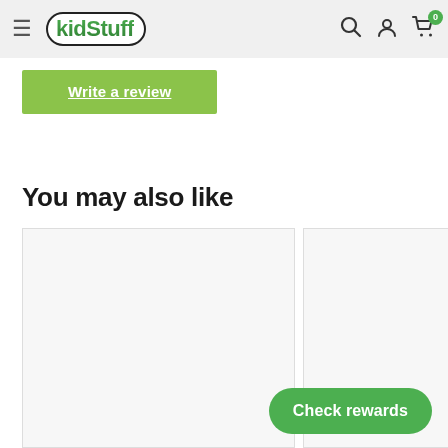kidStuff
Write a review
You may also like
[Figure (screenshot): Two product card placeholder boxes (empty white/light gray rectangles) in a 'You may also like' section]
Check rewards